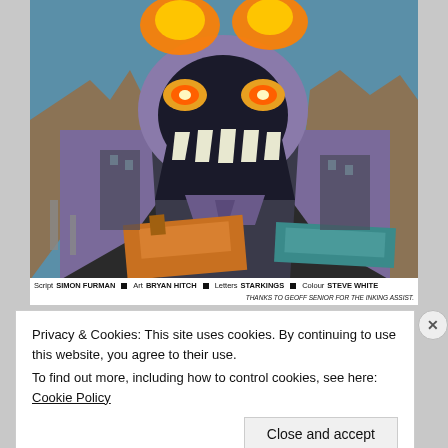[Figure (illustration): Comic book cover art showing a large robot/mech face with open mouth revealing teeth, glowing eyes, dramatic lighting with explosions/fire at top. Below the face are structures and machinery. The art is in a classic comic book style with bold colors including blue sky, purple/gray mech, orange machinery at bottom.]
Script SIMON FURMAN ■ Art BRYAN HITCH ■ Letters STARKINGS ■ Colour STEVE WHITE
THANKS TO GEOFF SENIOR FOR THE INKING ASSIST.
Privacy & Cookies: This site uses cookies. By continuing to use this website, you agree to their use.
To find out more, including how to control cookies, see here: Cookie Policy